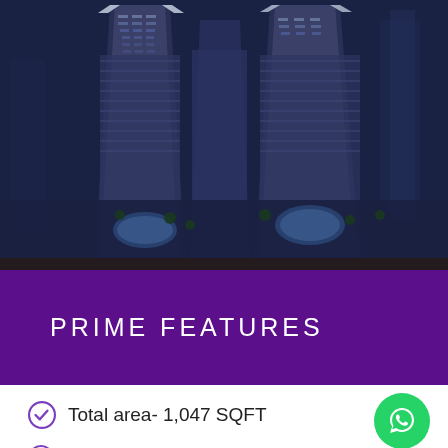[Figure (photo): Aerial night view of two modern high-rise residential towers with glass facades, surrounded by landscaped grounds with pools and trees in an urban setting]
PRIME FEATURES
Total area- 1,047 SQFT
Completion- 2020
Elegant apartments, comprised of 1, 2, & 3 bed